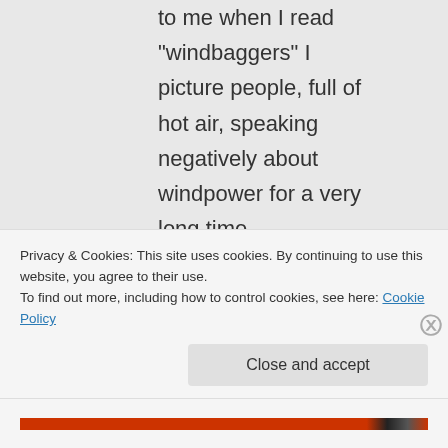to me when I read “windbaggers” I picture people, full of hot air, speaking negatively about windpower for a very long time.
bobinchiclana on May 9, 2012
Privacy & Cookies: This site uses cookies. By continuing to use this website, you agree to their use.
To find out more, including how to control cookies, see here: Cookie Policy